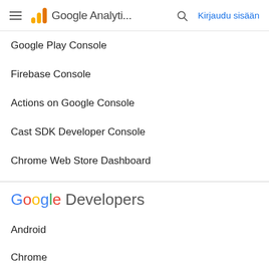Google Analyti... Kirjaudu sisään
Google Play Console
Firebase Console
Actions on Google Console
Cast SDK Developer Console
Chrome Web Store Dashboard
[Figure (logo): Google Developers logo with colorful G letters followed by 'Developers' in gray]
Android
Chrome
Firebase
Google Cloud Platform